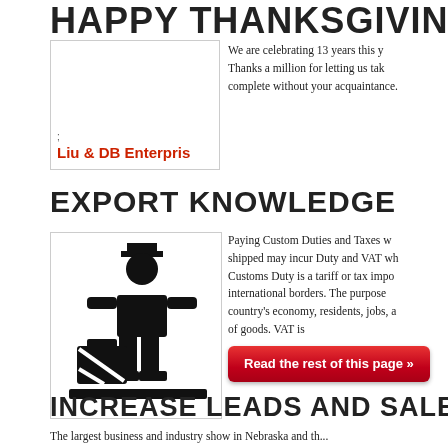HAPPY THANKSGIVING!
[Figure (logo): Logo box showing 'Liu & DB Enterprises' text in red on white background with border]
We are celebrating 13 years this year. Thanks a million for letting us take complete without your acquaintance.
EXPORT KNOWLEDGE
[Figure (illustration): Black silhouette illustration of a customs officer figure with briefcase/luggage at border checkpoint]
Paying Custom Duties and Taxes when shipped may incur Duty and VAT when Customs Duty is a tariff or tax imposed at international borders. The purpose of country's economy, residents, jobs, and of goods. VAT is
Read the rest of this page »
INCREASE LEADS AND SALES
The largest business and industry show in Nebraska and the...